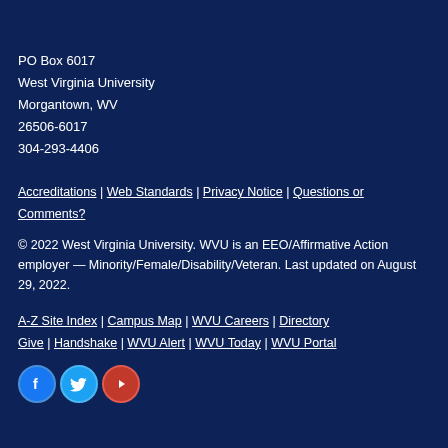PO Box 6017
West Virginia University
Morgantown, WV
26506-6017
304-293-4406
Accreditations | Web Standards | Privacy Notice | Questions or Comments?
© 2022 West Virginia University. WVU is an EEO/Affirmative Action employer — Minority/Female/Disability/Veteran. Last updated on August 29, 2022.
A-Z Site Index | Campus Map | WVU Careers | Directory Give | Handshake | WVU Alert | WVU Today | WVU Portal
[Figure (illustration): Social media icons: Facebook (blue circle with f), Twitter (light blue circle with bird), YouTube (red circle with play button)]